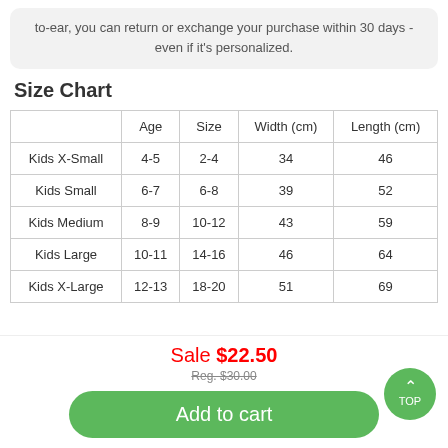to-ear, you can return or exchange your purchase within 30 days - even if it's personalized.
Size Chart
|  | Age | Size | Width (cm) | Length (cm) |
| --- | --- | --- | --- | --- |
| Kids X-Small | 4-5 | 2-4 | 34 | 46 |
| Kids Small | 6-7 | 6-8 | 39 | 52 |
| Kids Medium | 8-9 | 10-12 | 43 | 59 |
| Kids Large | 10-11 | 14-16 | 46 | 64 |
| Kids X-Large | 12-13 | 18-20 | 51 | 69 |
Sale $22.50
Reg. $30.00
Add to cart